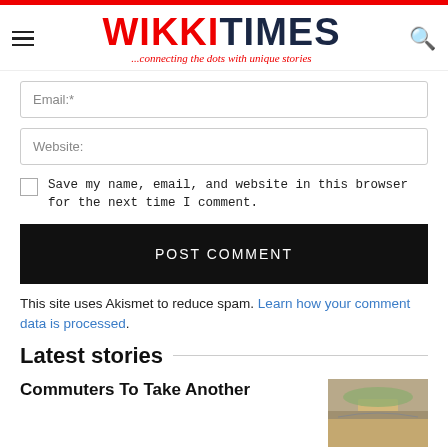WIKKITIMES ...connecting the dots with unique stories
Email:*
Website:
Save my name, email, and website in this browser for the next time I comment.
POST COMMENT
This site uses Akismet to reduce spam. Learn how your comment data is processed.
Latest stories
Commuters To Take Another